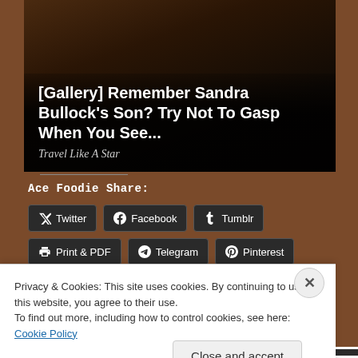[Figure (photo): Dark background image with text overlay showing gallery article about Sandra Bullock's son]
[Gallery] Remember Sandra Bullock's Son? Try Not To Gasp When You See...
Travel Like A Star
Ace Foodie Share:
Twitter
Facebook
Tumblr
Print & PDF
Telegram
Pinterest
Like
Be the first to like this.
Posted on September 24, 2013 by Ace Worldwide
Privacy & Cookies: This site uses cookies. By continuing to use this website, you agree to their use.
To find out more, including how to control cookies, see here: Cookie Policy
Close and accept